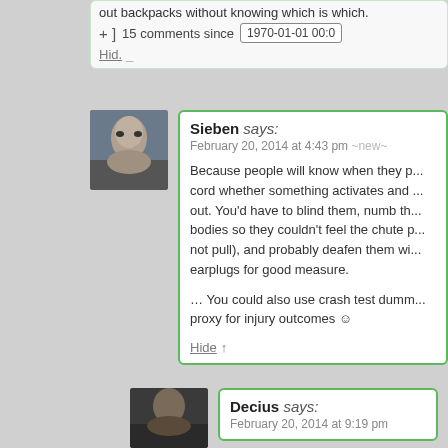out backpacks without knowing which is which.
+ ]  15 comments since   1970-01-01 00:0   Hid. _
Sieben says:
February 20, 2014 at 4:43 pm ~new~

Because people will know when they p... cord whether something activates and ... out. You'd have to blind them, numb th... bodies so they couldn't feel the chute p... not pull), and probably deafen them wi... earplugs for good measure.

… You could also use crash test dumm... proxy for injury outcomes 🙂

Hide 1
Decius says:
February 20, 2014 at 9:19 pm